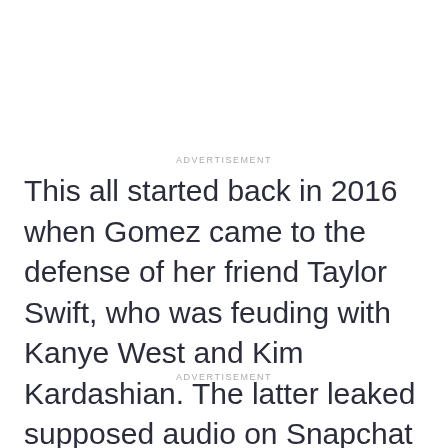ADVERTISEMENT
This all started back in 2016 when Gomez came to the defense of her friend Taylor Swift, who was feuding with Kanye West and Kim Kardashian. The latter leaked supposed audio on Snapchat of Swift agreeing to West's song, “Famous.”
ADVERTISEMENT